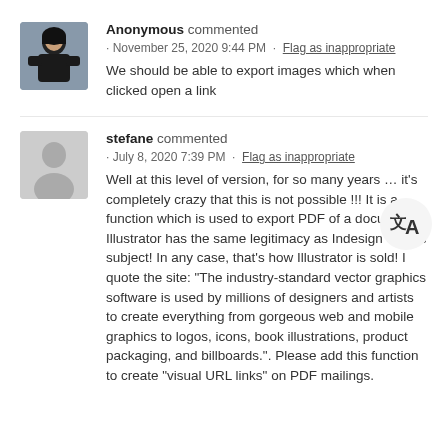[Figure (photo): Avatar photo of anonymous user wearing dark clothing outdoors]
Anonymous commented · November 25, 2020 9:44 PM · Flag as inappropriate
We should be able to export images which when clicked open a link
[Figure (other): Translation icon button (文A)]
[Figure (illustration): Generic grey silhouette avatar for user stefane]
stefane commented · July 8, 2020 7:39 PM · Flag as inappropriate
Well at this level of version, for so many years … it's completely crazy that this is not possible !!! It is a function which is used to export PDF of a document. Illustrator has the same legitimacy as Indesign on this subject! In any case, that's how Illustrator is sold! I quote the site: "The industry-standard vector graphics software is used by millions of designers and artists to create everything from gorgeous web and mobile graphics to logos, icons, book illustrations, product packaging, and billboards.". Please add this function to create "visual URL links" on PDF mailings.